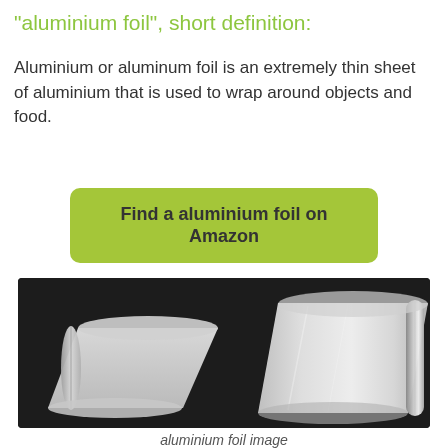"aluminium foil", short definition:
Aluminium or aluminum foil is an extremely thin sheet of aluminium that is used to wrap around objects and food.
Find a aluminium foil on Amazon
[Figure (photo): Two rolls of aluminium foil on a dark background. On the left is a matte/white foil roll partially unrolled. On the right is a shiny silver foil roll partially unrolled showing metallic finish.]
aluminium foil image